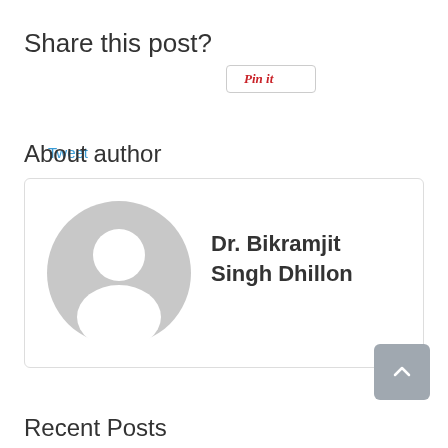Share this post?
Tweet
[Figure (other): Pin it button with Pinterest branding]
About author
[Figure (other): Author card with gray avatar placeholder and name: Dr. Bikramjit Singh Dhillon]
Recent Posts